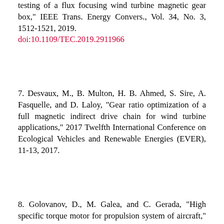testing of a flux focusing wind turbine magnetic gear box," IEEE Trans. Energy Convers., Vol. 34, No. 3, 1512-1521, 2019. doi:10.1109/TEC.2019.2911966
7. Desvaux, M., B. Multon, H. B. Ahmed, S. Sire, A. Fasquelle, and D. Laloy, "Gear ratio optimization of a full magnetic indirect drive chain for wind turbine applications," 2017 Twelfth International Conference on Ecological Vehicles and Renewable Energies (EVER), 11-13, 2017.
8. Golovanov, D., M. Galea, and C. Gerada, "High specific torque motor for propulsion system of aircraft," International Conference on Electrical Systems for Aircraft, 2-4, 2016.
9. Bruzzese, C., E. Ruggeri, M. Rafiei, D. Zito, T. Mazzuca, and G. Lipardi, "Mechanical arrangements onboard ship of innovative permanent magnet linear actuators for steering gear," 2017 International Symposium on Power